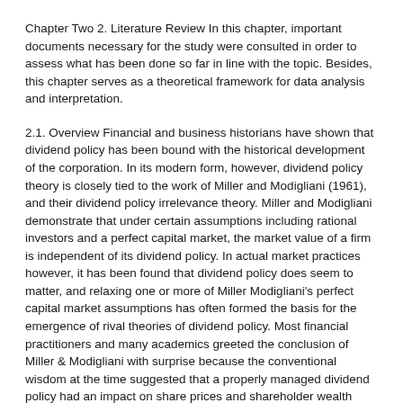Chapter Two 2. Literature Review In this chapter, important documents necessary for the study were consulted in order to assess what has been done so far in line with the topic. Besides, this chapter serves as a theoretical framework for data analysis and interpretation.
2.1. Overview Financial and business historians have shown that dividend policy has been bound with the historical development of the corporation. In its modern form, however, dividend policy theory is closely tied to the work of Miller and Modigliani (1961), and their dividend policy irrelevance theory. Miller and Modigliani demonstrate that under certain assumptions including rational investors and a perfect capital market, the market value of a firm is independent of its dividend policy. In actual market practices however, it has been found that dividend policy does seem to matter, and relaxing one or more of Miller Modigliani's perfect capital market assumptions has often formed the basis for the emergence of rival theories of dividend policy. Most financial practitioners and many academics greeted the conclusion of Miller & Modigliani with surprise because the conventional wisdom at the time suggested that a properly managed dividend policy had an impact on share prices and shareholder wealth (April & Kanunu, 2008).